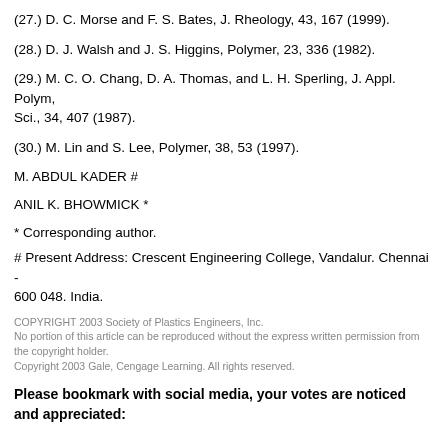(27.) D. C. Morse and F. S. Bates, J. Rheology, 43, 167 (1999).
(28.) D. J. Walsh and J. S. Higgins, Polymer, 23, 336 (1982).
(29.) M. C. O. Chang, D. A. Thomas, and L. H. Sperling, J. Appl. Polym, Sci., 34, 407 (1987).
(30.) M. Lin and S. Lee, Polymer, 38, 53 (1997).
M. ABDUL KADER #
ANIL K. BHOWMICK *
* Corresponding author.
# Present Address: Crescent Engineering College, Vandalur. Chennai - 600 048. India.
COPYRIGHT 2003 Society of Plastics Engineers, Inc.
No portion of this article can be reproduced without the express written permission from the copyright holder.
Copyright 2003 Gale, Cengage Learning. All rights reserved.
Please bookmark with social media, your votes are noticed and appreciated: